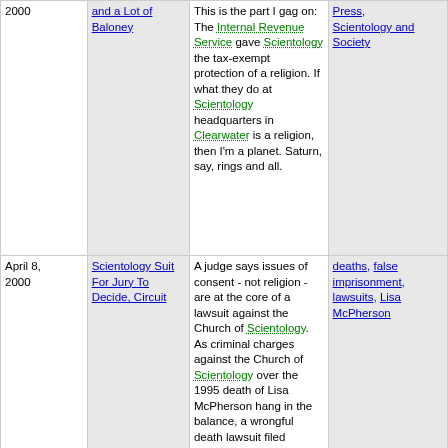| Date | Title | Description | Tags |
| --- | --- | --- | --- |
| 2000 | and a Lot of Baloney | This is the part I gag on: The Internal Revenue Service gave Scientology the tax-exempt protection of a religion. If what they do at Scientology headquarters in Clearwater is a religion, then I'm a planet. Saturn, say, rings and all. | Press, Scientology and Society |
| April 8, 2000 | Scientology Suit For Jury To Decide, Circuit... | A judge says issues of consent - not religion - are at the core of a lawsuit against the Church of Scientology. As criminal charges against the Church of Scientology over the 1995 death of Lisa McPherson hang in the balance, a wrongful death lawsuit filed against the... | deaths, false imprisonment, lawsuits, Lisa McPherson... |